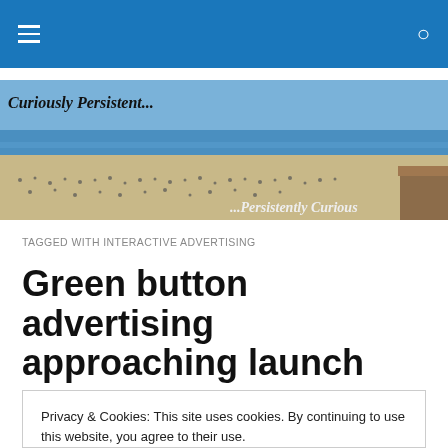Navigation bar with hamburger menu and search icon
[Figure (photo): Beach scene banner with text 'Curiously Persistent...' on left and '...Persistently Curious' on right, showing a crowded beach with ocean in background]
TAGGED WITH INTERACTIVE ADVERTISING
Green button advertising approaching launch
Privacy & Cookies: This site uses cookies. By continuing to use this website, you agree to their use.
To find out more, including how to control cookies, see here: Cookie Policy
Close and accept